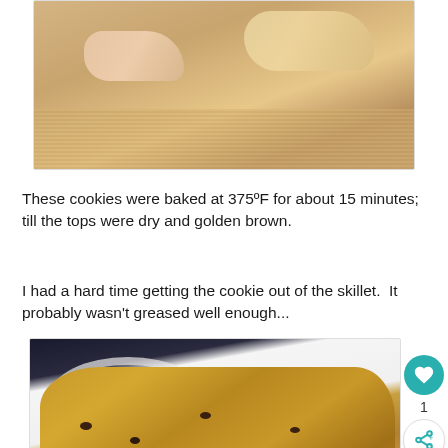[Figure (photo): Close-up photo of raw cookie dough being held by fingers over a mesh baking sheet]
These cookies were baked at 375ºF for about 15 minutes; till the tops were dry and golden brown.
I had a hard time getting the cookie out of the skillet.  It probably wasn't greased well enough...
[Figure (photo): Close-up photo of a large chocolate chip skillet cookie on a white plate, with watermark '© frieda loves']